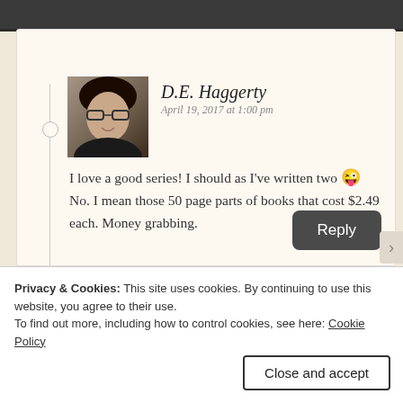[Figure (photo): Author photo of D.E. Haggerty, a woman with glasses and dark hair]
D.E. Haggerty
April 19, 2017 at 1:00 pm
I love a good series! I should as I've written two 😜 No. I mean those 50 page parts of books that cost $2.49 each. Money grabbing.
★ Liked by 1 person
Reply
Privacy & Cookies: This site uses cookies. By continuing to use this website, you agree to their use.
To find out more, including how to control cookies, see here: Cookie Policy
Close and accept